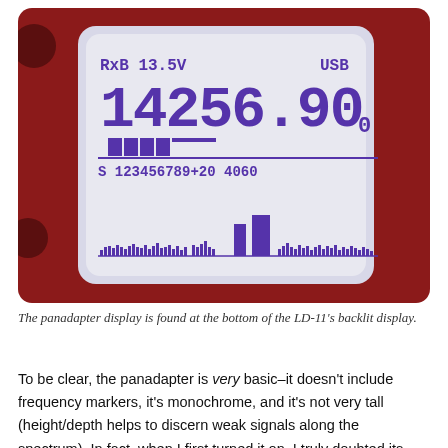[Figure (photo): A photo of an LCD display screen showing 'RxB 13.5V USB' at top, large digits '14256.90' with a small '0', a signal strength bar 'S 123456789+20 4060', and a panadapter spectrum display at the bottom with purple/violet signal bars on a light background. The device has a dark red/maroon body visible at the edges.]
The panadapter display is found at the bottom of the LD-11's backlit display.
To be clear, the panadapter is very basic–it doesn't include frequency markers, it's monochrome, and it's not very tall (height/depth helps to discern weak signals along the spectrum). In fact, when I first turned it on, I truly doubted its utility.